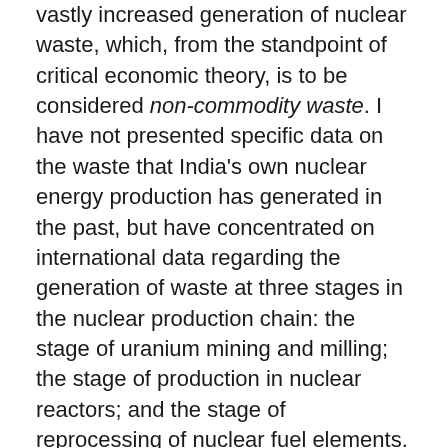vastly increased generation of nuclear waste, which, from the standpoint of critical economic theory, is to be considered non-commodity waste. I have not presented specific data on the waste that India's own nuclear energy production has generated in the past, but have concentrated on international data regarding the generation of waste at three stages in the nuclear production chain: the stage of uranium mining and milling; the stage of production in nuclear reactors; and the stage of reprocessing of nuclear fuel elements. These data unequivocally show that, in assessing the implications of the U.S.-India nuclear deal, the issue of nuclear waste needs to be taken on board.
Yet, if we are to assess the full extent of waste generation implied by the U.S.-India nuclear deal, we also need to reflect on the reverse side of the deal. There needs to be, it seems, greater awareness of the fact that the United States does not just intend to use the deal to promote the export of nuclear production